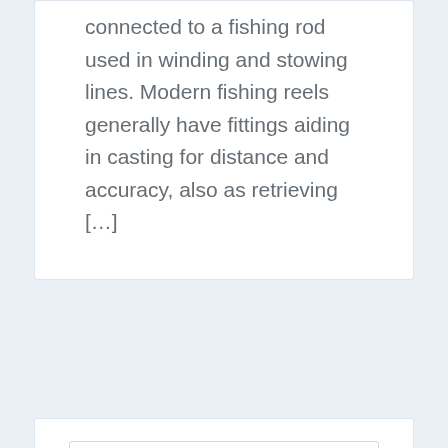connected to a fishing rod used in winding and stowing lines. Modern fishing reels generally have fittings aiding in casting for distance and accuracy, also as retrieving […]
Search …
RECENT POSTS